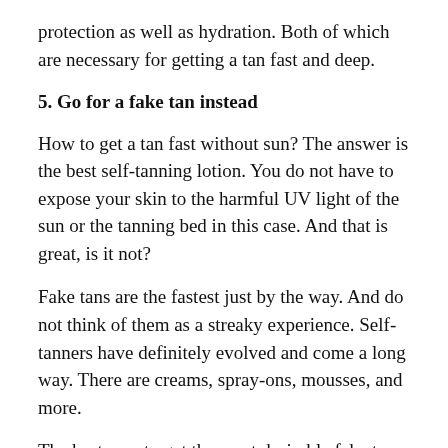protection as well as hydration. Both of which are necessary for getting a tan fast and deep.
5. Go for a fake tan instead
How to get a tan fast without sun? The answer is the best self-tanning lotion. You do not have to expose your skin to the harmful UV light of the sun or the tanning bed in this case. And that is great, is it not?
Fake tans are the fastest just by the way. And do not think of them as a streaky experience. Self-tanners have definitely evolved and come a long way. There are creams, spray-ons, mousses, and more.
The best way to get the most desirable fake tan